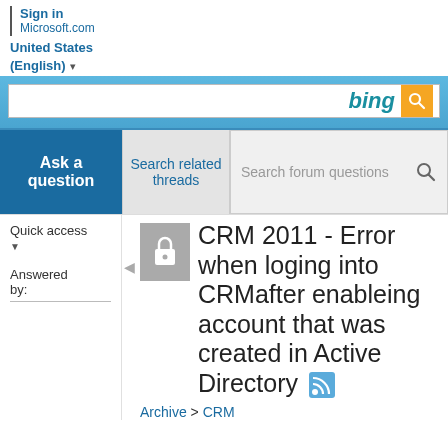Sign in | Microsoft.com | United States (English)
[Figure (screenshot): Bing search bar with blue gradient background, white input box, bing logo in teal italic, orange search button with magnifier icon]
Ask a question
Search related threads
Search forum questions
Quick access
Answered by:
CRM 2011 - Error when loging into CRMafter enableing account that was created in Active Directory
Archive > CRM